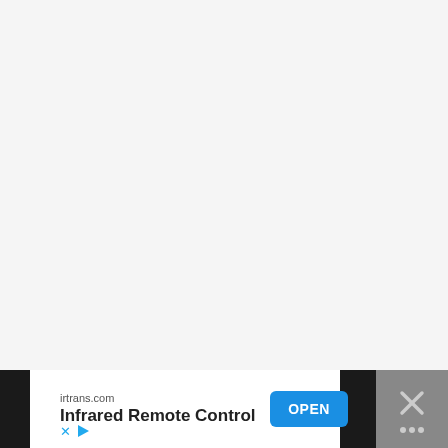[Figure (other): Large blank/white content area, likely a document or app page with no visible content]
irtrans.com
Infrared Remote Control
OPEN
[Figure (other): Close/dismiss button with X icon and dots below, on dark grey background]